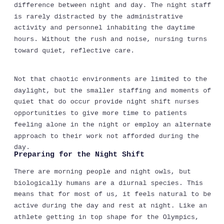difference between night and day. The night staff is rarely distracted by the administrative activity and personnel inhabiting the daytime hours. Without the rush and noise, nursing turns toward quiet, reflective care.
Not that chaotic environments are limited to the daylight, but the smaller staffing and moments of quiet that do occur provide night shift nurses opportunities to give more time to patients feeling alone in the night or employ an alternate approach to their work not afforded during the day.
Preparing for the Night Shift
There are morning people and night owls, but biologically humans are a diurnal species. This means that for most of us, it feels natural to be active during the day and rest at night. Like an athlete getting in top shape for the Olympics, shifting